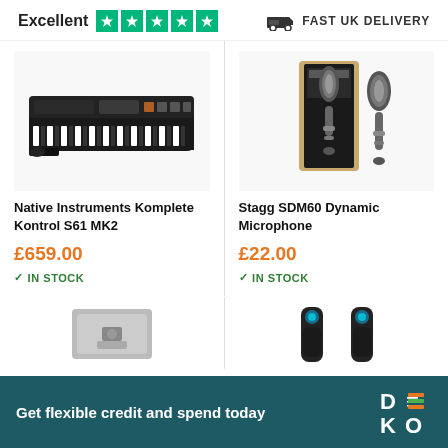[Figure (infographic): Trustpilot Excellent rating with 5 green stars and Fast UK Delivery truck icon header bar]
[Figure (photo): Native Instruments Komplete Kontrol S61 MK2 keyboard synthesizer product photo]
Native Instruments Komplete Kontrol S61 MK2
£659.00
IN STOCK
[Figure (photo): Stagg SDM60 Dynamic Microphone product photo with box and two microphones]
Stagg SDM60 Dynamic Microphone
£22.00
IN STOCK
[Figure (photo): Partial view of a guitar pedal product in bottom left card]
[Figure (photo): Partial view of two black wireless transmitter devices with blue lights in bottom right card]
Get flexible credit and spend today